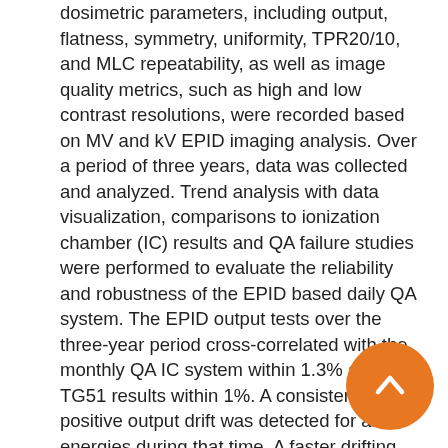dosimetric parameters, including output, flatness, symmetry, uniformity, TPR20/10, and MLC repeatability, as well as image quality metrics, such as high and low contrast resolutions, were recorded based on MV and kV EPID imaging analysis. Over a period of three years, data was collected and analyzed. Trend analysis with data visualization, comparisons to ionization chamber (IC) results and QA failure studies were performed to evaluate the reliability and robustness of the EPID based daily QA system. The EPID output tests over the three-year period cross-correlated with the monthly QA IC system within 1.3% and TG51 results within 1%. A consistent positive output drift was detected for all energies during that time. A faster drifting speed was observed after the installation of a new beam monitoring chamber on the machine but slowed down over time. Symmetry, flatness, and uniformity were stable and the changes were directly related to beam steering or QA baseline resetting. TPR20/10 was not sensitive to dosimetry fluctuations and a good delivery repeatability of MLC fields was observed. The image quality metrics were stable and a passing rate greater than 96% was observed. For the most recent eight month of data, a one-time QA passing rate was calculated to be 87.6%. Beam interruptions, human errors and data transfer issues were the major reasons for QA failures. The data gathered over 3 years